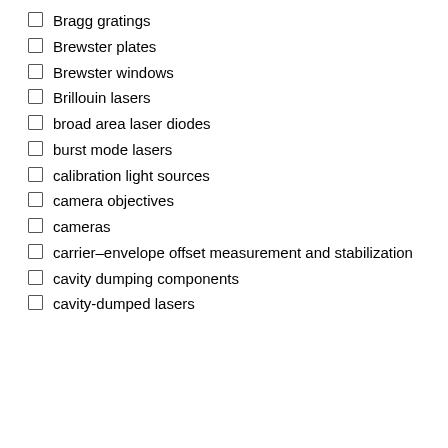Bragg gratings
Brewster plates
Brewster windows
Brillouin lasers
broad area laser diodes
burst mode lasers
calibration light sources
camera objectives
cameras
carrier–envelope offset measurement and stabilization
cavity dumping components
cavity-dumped lasers